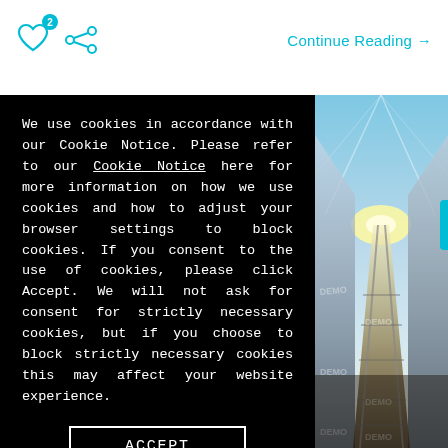[Figure (other): Heart icon with badge showing '2' and a share icon in cyan/teal color]
Continue Reading →
We use cookies in accordance with our Cookie Notice. Please refer to our Cookie Notice here for more information on how we use cookies and how to adjust your browser settings to block cookies. If you consent to the use of cookies, please click Accept. We will not ask for consent for strictly necessary cookies, but if you choose to block strictly necessary cookies this may affect your website experience.
ACCEPT
[Figure (photo): Motion-blurred photo of railway tracks converging toward a bright light, with tall buildings on either side, viewed from track level. Has DEMO watermark text overlaid.]